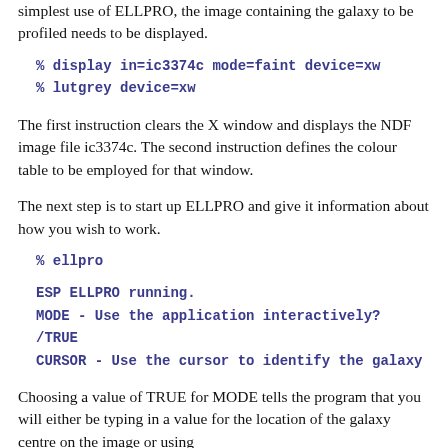simplest use of ELLPRO, the image containing the galaxy to be profiled needs to be displayed.
% display in=ic3374c mode=faint device=xw
% lutgrey device=xw
The first instruction clears the X window and displays the NDF image file ic3374c. The second instruction defines the colour table to be employed for that window.
The next step is to start up ELLPRO and give it information about how you wish to work.
% ellpro
ESP ELLPRO running.
MODE - Use the application interactively? /TRUE
CURSOR - Use the cursor to identify the galaxy
Choosing a value of TRUE for MODE tells the program that you will either be typing in a value for the location of the galaxy centre on the image or using